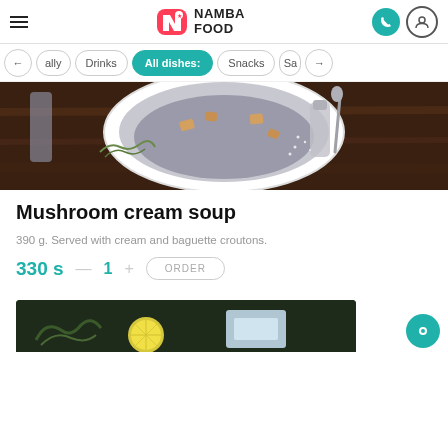[Figure (logo): Namba Food logo with red N icon and teal phone icon, user icon in header]
[Figure (screenshot): Category navigation pills: ally (partial), Drinks, All dishes: (active/teal), Snacks, Sa (partial), with left/right arrows]
[Figure (photo): Top-down photo of mushroom cream soup in a white bowl on dark wooden surface, with herbs, salt and spoon]
Mushroom cream soup
390 g. Served with cream and baguette croutons.
330 s — 1 + ORDER
[Figure (photo): Partial photo at bottom showing herbs, lemon slice and light blue items on dark background]